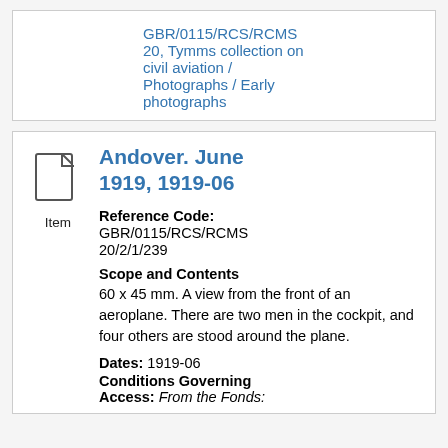GBR/0115/RCS/RCMS 20, Tymms collection on civil aviation / Photographs / Early photographs
Andover. June 1919, 1919-06
Reference Code: GBR/0115/RCS/RCMS 20/2/1/239
Scope and Contents
60 x 45 mm. A view from the front of an aeroplane. There are two men in the cockpit, and four others are stood around the plane.
Dates: 1919-06
Conditions Governing Access: From the Fonds: